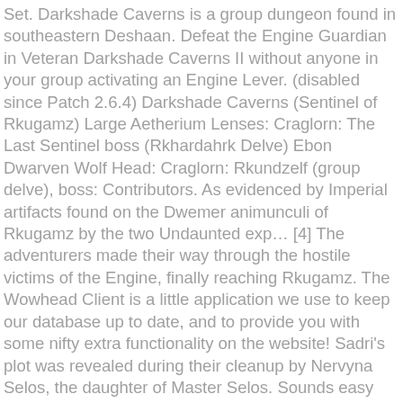Set. Darkshade Caverns is a group dungeon found in southeastern Deshaan. Defeat the Engine Guardian in Veteran Darkshade Caverns II without anyone in your group activating an Engine Lever. (disabled since Patch 2.6.4) Darkshade Caverns (Sentinel of Rkugamz) Large Aetherium Lenses: Craglorn: The Last Sentinel boss (Rkhardahrk Delve) Ebon Dwarven Wolf Head: Craglorn: Rkundzelf (group delve), boss: Contributors. As evidenced by Imperial artifacts found on the Dwemer animunculi of Rkugamz by the two Undaunted exp… [4] The adventurers made their way through the hostile victims of the Engine, finally reaching Rkugamz. The Wowhead Client is a little application we use to keep our database up to date, and to provide you with some nifty extra functionality on the website! Sadri's plot was revealed during their cleanup by Nervyna Selos, the daughter of Master Selos. Sounds easy huh? And I don't think it's rng. In the normal version, Tervur Sadri wants you to help him reclaim his mine from thugs within.